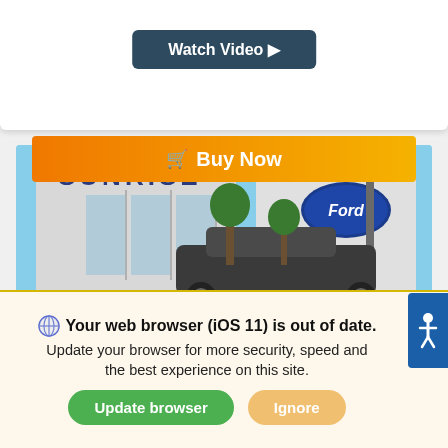[Figure (screenshot): Watch Video button — dark teal rounded rectangle with white bold text and right-pointing triangle arrow]
[Figure (screenshot): Buy Now button — orange gradient rounded rectangle with white bold text and shopping cart icon]
[Figure (photo): Exterior photo of Sunrise Ford dealership building with Ford oval logo on facade, vehicles in foreground, blue sky]
We use cookies to optimize our website and our service.
Cookie Policy   Privacy Statement
Your web browser (iOS 11) is out of date. Update your browser for more security, speed and the best experience on this site.
[Figure (screenshot): Update browser button — green rounded pill button]
[Figure (screenshot): Ignore button — light orange/tan rounded pill button]
[Figure (screenshot): Accessibility icon button — blue square with white person/wheelchair icon on right edge]